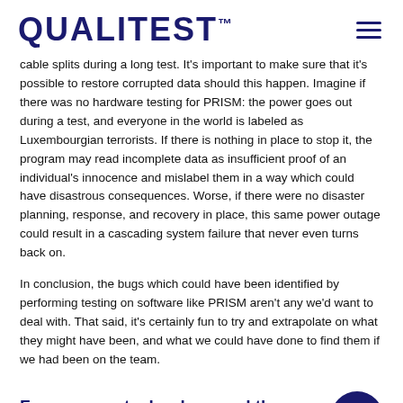QUALITEST™
cable splits during a long test. It's important to make sure that it's possible to restore corrupted data should this happen. Imagine if there was no hardware testing for PRISM: the power goes out during a test, and everyone in the world is labeled as Luxembourgian terrorists. If there is nothing in place to stop it, the program may read incomplete data as insufficient proof of an individual's innocence and mislabel them in a way which could have disastrous consequences. Worse, if there were no disaster planning, response, and recovery in place, this same power outage could result in a cascading system failure that never even turns back on.
In conclusion, the bugs which could have been identified by performing testing on software like PRISM aren't any we'd want to deal with. That said, it's certainly fun to try and extrapolate on what they might have been, and what we could have done to find them if we had been on the team.
For more on technology and the US government, click here!